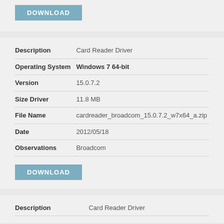[Figure (other): DOWNLOAD button at top, steel blue/teal colored rectangle]
| Field | Value |
| --- | --- |
| Description | Card Reader Driver |
| Operating System | Windows 7 64-bit |
| Version | 15.0.7.2 |
| Size Driver | 11.8 MB |
| File Name | cardreader_broadcom_15.0.7.2_w7x64_a.zip |
| Date | 2012/05/18 |
| Observations | Broadcom |
[Figure (other): DOWNLOAD button, steel blue/teal colored rectangle]
| Field | Value |
| --- | --- |
| Description | Card Reader Driver |